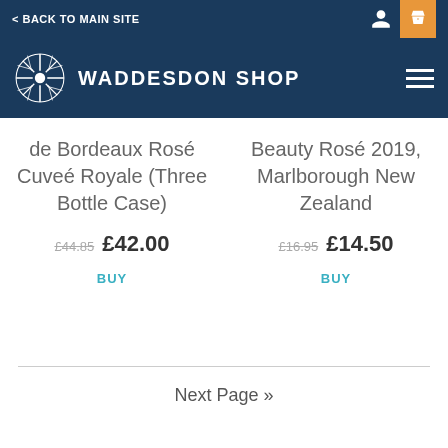< BACK TO MAIN SITE
WADDESDON SHOP
de Bordeaux Rosé Cuveé Royale (Three Bottle Case)
£44.85  £42.00
BUY
Beauty Rosé 2019, Marlborough New Zealand
£16.95  £14.50
BUY
Next Page »